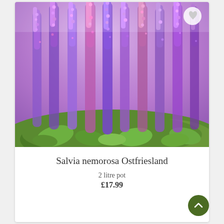[Figure (photo): Close-up photograph of Salvia nemorosa Ostfriesland showing tall purple-pink flower spikes rising above green foliage, with a soft-focus purple background]
Salvia nemorosa Ostfriesland
2 litre pot
£17.99